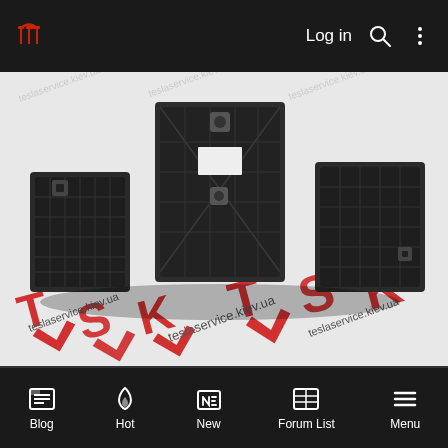TMC  Log in  [search icon]  [menu icon]
[Figure (photo): Black plastic automotive bracket/mount parts displayed on a white background with red TSK teslaservice.kiev.ua watermark logos]
Blog  Hot  New  Forum List  Menu